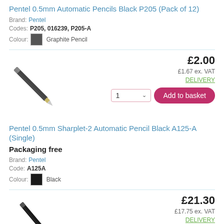Pentel 0.5mm Automatic Pencils Black P205 (Pack of 12)
Brand: Pentel
Codes: P205, 016239, P205-A
Colour: Graphite Pencil
[Figure (photo): Image of Pentel 0.5mm automatic pencil, dark grey, diagonal orientation]
£2.00
£1.67 ex. VAT
DELIVERY
1 ▾  Add to basket
Pentel 0.5mm Sharplet-2 Automatic Pencil Black A125-A (Single)
Packaging free
Brand: Pentel
Code: A125A
Colour: Black
[Figure (photo): Image of Pentel 0.5mm Sharplet-2 automatic pencil, black, diagonal orientation]
£21.30
£17.75 ex. VAT
DELIVERY